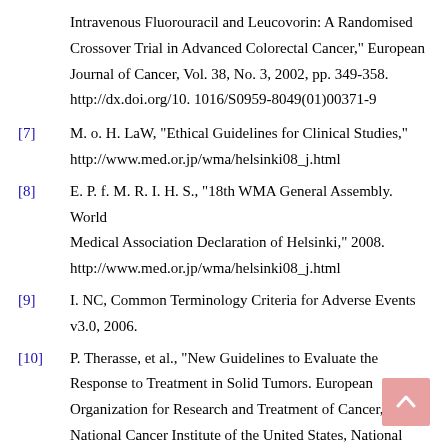Intravenous Fluorouracil and Leucovorin: A Randomised Crossover Trial in Advanced Colorectal Cancer," European Journal of Cancer, Vol. 38, No. 3, 2002, pp. 349-358. http://dx.doi.org/10. 1016/S0959-8049(01)00371-9
[7] M. o. H. LaW, "Ethical Guidelines for Clinical Studies," http://www.med.or.jp/wma/helsinki08_j.html
[8] E. P. f. M. R. I. H. S., "18th WMA General Assembly. World Medical Association Declaration of Helsinki," 2008. http://www.med.or.jp/wma/helsinki08_j.html
[9] I. NC, Common Terminology Criteria for Adverse Events v3.0, 2006.
[10] P. Therasse, et al., "New Guidelines to Evaluate the Response to Treatment in Solid Tumors. European Organization for Research and Treatment of Cancer, National Cancer Institute of the United States, National Cancer Institute of Canada," Journal of the National Cancer